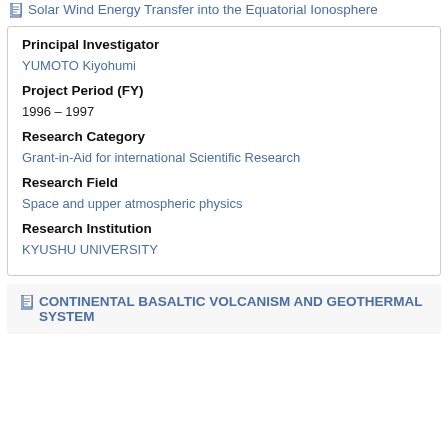Solar Wind Energy Transfer into the Equatorial Ionosphere
Principal Investigator
YUMOTO Kiyohumi
Project Period (FY)
1996 – 1997
Research Category
Grant-in-Aid for international Scientific Research
Research Field
Space and upper atmospheric physics
Research Institution
KYUSHU UNIVERSITY
CONTINENTAL BASALTIC VOLCANISM AND GEOTHERMAL SYSTEM